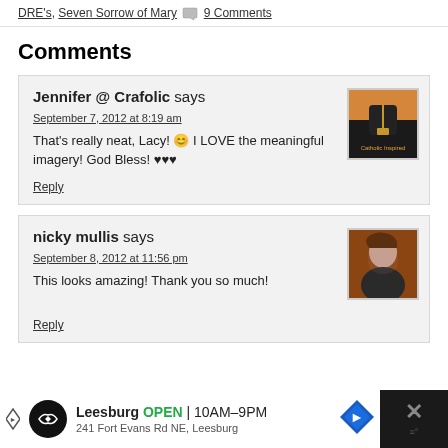DRE's, Seven Sorrow of Mary  💬 9 Comments
Comments
Jennifer @ Crafolic says
September 7, 2012 at 8:19 am
That's really neat, Lacy! 😊 I LOVE the meaningful imagery! God Bless! ♥♥♥
Reply
nicky mullis says
September 8, 2012 at 11:56 pm
This looks amazing! Thank you so much!
Reply